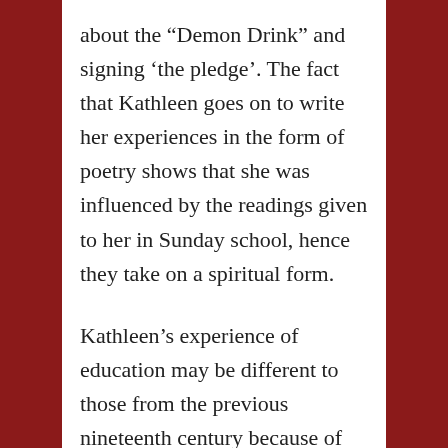about the “Demon Drink” and signing ‘the pledge’. The fact that Kathleen goes on to write her experiences in the form of poetry shows that she was influenced by the readings given to her in Sunday school, hence they take on a spiritual form.
Kathleen’s experience of education may be different to those from the previous nineteenth century because of the effects of World War One. Although she notes occasions where her teachers punished pupils physically, they don’t seem to have